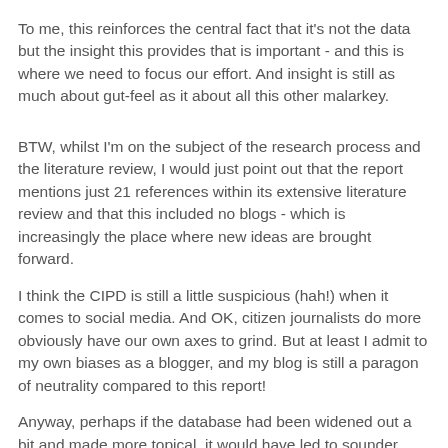To me, this reinforces the central fact that it's not the data but the insight this provides that is important - and this is where we need to focus our effort.  And insight is still as much about gut-feel as it about all this other malarkey.
BTW, whilst I'm on the subject of the research process and the literature review, I would just point out that the report mentions just 21 references within its extensive literature review and that this included no blogs - which is increasingly the place where new ideas are brought forward.
I think the CIPD is still a little suspicious (hah!) when it comes to social media.  And OK, citizen journalists do more obviously have our own axes to grind.  But at least I admit to my own biases as a blogger, and my blog is still a paragon of neutrality compared to this report!
Anyway, perhaps if the database had been widened out a bit and made more topical, it would have led to sounder conclusions too.